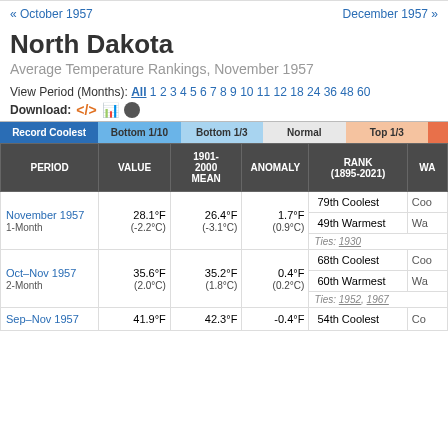« October 1957    December 1957 »
North Dakota
Average Temperature Rankings, November 1957
View Period (Months): All 1 2 3 4 5 6 7 8 9 10 11 12 18 24 36 48 60
Download:
| PERIOD | VALUE | 1901-2000 MEAN | ANOMALY | RANK (1895-2021) | WA |
| --- | --- | --- | --- | --- | --- |
| November 1957
1-Month | 28.1°F
(-2.2°C) | 26.4°F
(-3.1°C) | 1.7°F
(0.9°C) | 79th Coolest

49th Warmest | Coo

Wa |
| Ties: 1930 |  |  |  |  |  |
| Oct–Nov 1957
2-Month | 35.6°F
(2.0°C) | 35.2°F
(1.8°C) | 0.4°F
(0.2°C) | 68th Coolest

60th Warmest | Coo

Wa |
| Ties: 1952, 1967 |  |  |  |  |  |
| Sep–Nov 1957 | 41.9°F | 42.3°F | -0.4°F | 54th Coolest | Co |